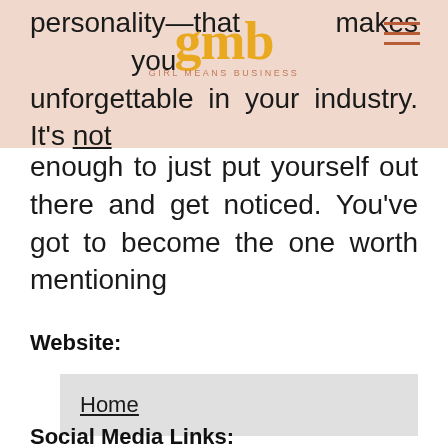gmb — GIRL MEANS BUSINESS
personality—that makes you unforgettable in your industry. It's not enough to just put yourself out there and get noticed. You've got to become the one worth mentioning
Website:
Home
Social Media Links: